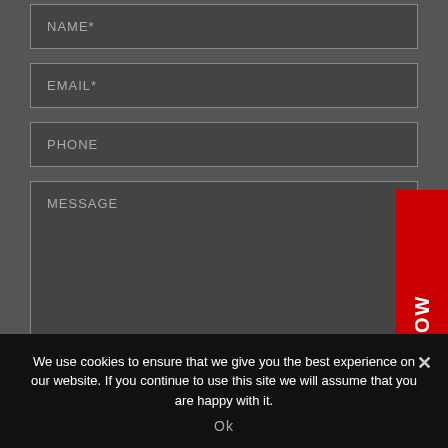NAME*
EMAIL*
PHONE
MESSAGE
[Figure (other): Red vertical 'BOOK NOW' button on the right side of the page]
We use cookies to ensure that we give you the best experience on our website. If you continue to use this site we will assume that you are happy with it.
Ok